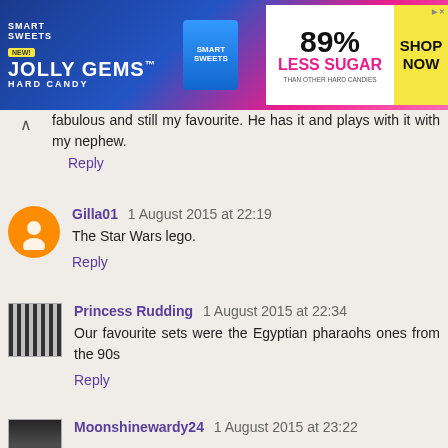[Figure (illustration): Smart Sweets Jolly Gems hard candy advertisement banner with colorful candy imagery, 89% Less Sugar claim, and Shop Now button]
fabulous and still my favourite. He has it and plays with it with my nephew.
Reply
Gilla01  1 August 2015 at 22:19
The Star Wars lego.
Reply
Princess Rudding  1 August 2015 at 22:34
Our favourite sets were the Egyptian pharaohs ones from the 90s
Reply
Moonshinewardy24  1 August 2015 at 23:22